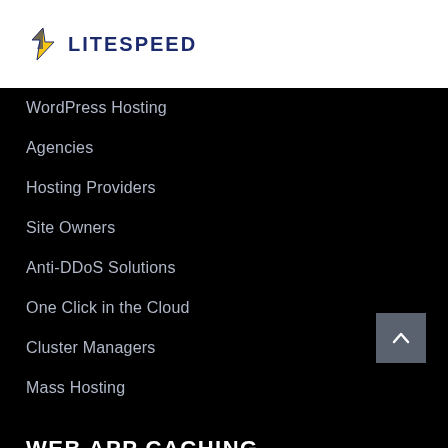[Figure (logo): LiteSpeed logo with lightning bolt icon and LITESPEED text in dark blue]
WordPress Hosting
Agencies
Hosting Providers
Site Owners
Anti-DDoS Solutions
One Click in the Cloud
Cluster Managers
Mass Hosting
WEB APP CACHING